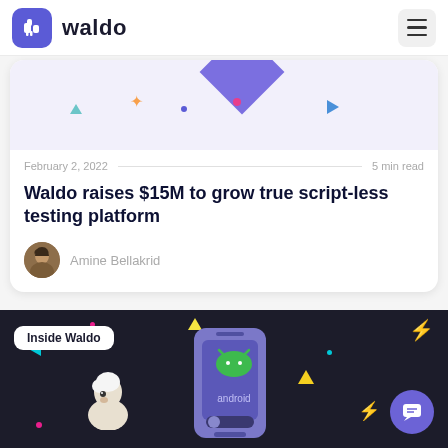waldo
[Figure (illustration): Waldo blog article card with decorative abstract shapes at top, date metadata, bold article title, and author info]
February 2, 2022  5 min read
Waldo raises $15M to grow true script-less testing platform
Amine Bellakrid
[Figure (illustration): Dark card with 'Inside Waldo' badge, Android phone graphic with android logo, llama mascot character, colorful confetti shapes, lightning bolt, and chat button]